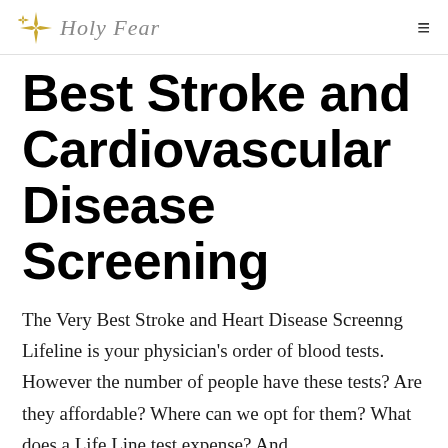✦ Holy Fear
Best Stroke and Cardiovascular Disease Screening
The Very Best Stroke and Heart Disease Screenng Lifeline is your physician's order of blood tests. However the number of people have these tests? Are they affordable? Where can we opt for them? What does a Life Line test expense? And